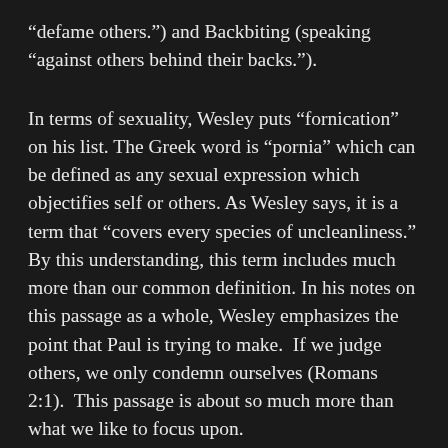“defame others.”) and Backbiting (speaking “against others behind their backs.”).
In terms of sexuality, Wesley puts “fornication” on his list. The Greek word is “pornia” which can be defined as any sexual expression which objectifies self or others. As Wesley says, it is a term that “covers every species of uncleanliness.” By this understanding, this term includes much more than our common definition. In his notes on this passage as a whole, Wesley emphasizes the point that Paul is trying to make.  If we judge others, we only condemn ourselves (Romans 2:1).  This passage is about so much more than what we like to focus upon.